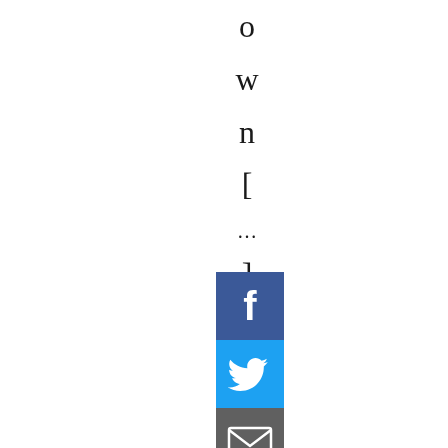o w n [ ... ]
[Figure (other): Stack of social media share buttons: Facebook (blue), Twitter (light blue), Email/newsletter (dark gray), Pinterest (red), and a plus/share button (orange-red)]
Februar